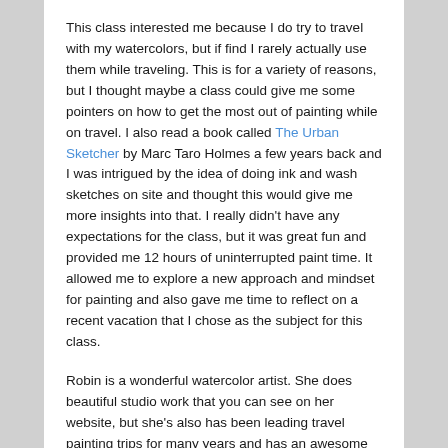This class interested me because I do try to travel with my watercolors, but if find I rarely actually use them while traveling. This is for a variety of reasons, but I thought maybe a class could give me some pointers on how to get the most out of painting while on travel. I also read a book called The Urban Sketcher by Marc Taro Holmes a few years back and I was intrigued by the idea of doing ink and wash sketches on site and thought this would give me more insights into that. I really didn't have any expectations for the class, but it was great fun and provided me 12 hours of uninterrupted paint time. It allowed me to explore a new approach and mindset for painting and also gave me time to reflect on a recent vacation that I chose as the subject for this class.
Robin is a wonderful watercolor artist. She does beautiful studio work that you can see on her website, but she's also has been leading travel painting trips for many years and has an awesome collection of travel sketchbooks that she's developed during her travels.